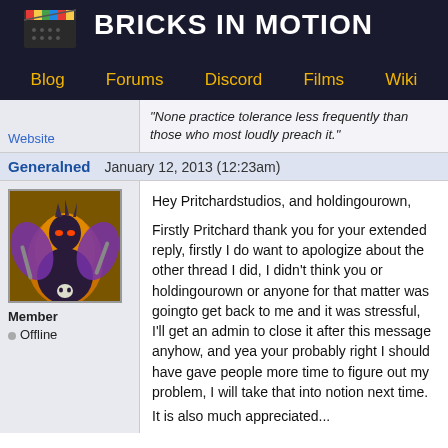BRICKS IN MOTION
Blog   Forums   Discord   Films   Wiki
"None practice tolerance less frequently than those who most loudly preach it."
Website
Generalned   January 12, 2013 (12:23am)
[Figure (photo): User avatar showing a fantasy warrior character with wings, dark armor, and a skull, holding weapons, on a golden background]
Member
Offline
Hey Pritchardstudios, and holdingourown,

Firstly Pritchard thank you for your extended reply, firstly I do want to apologize about the other thread I did, I didn't think you or holdingourown or anyone for that matter was going to get back to me and it was stressful, I'll get an admin to close it after this message anyhow, and yea your probably right I should have gave people more time to figure out my problem, I will take that into notion next time.
It is also much appreciated...